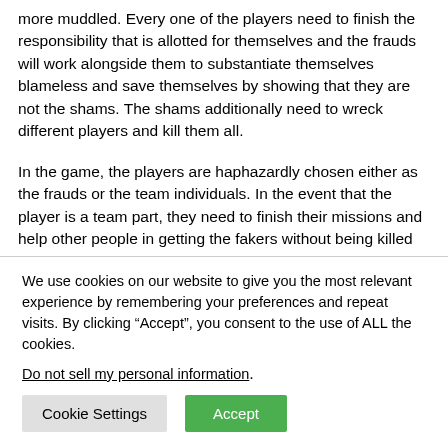more muddled. Every one of the players need to finish the responsibility that is allotted for themselves and the frauds will work alongside them to substantiate themselves blameless and save themselves by showing that they are not the shams. The shams additionally need to wreck different players and kill them all.
In the game, the players are haphazardly chosen either as the frauds or the team individuals. In the event that the player is a team part, they need to finish their missions and help other people in getting the fakers without being killed
We use cookies on our website to give you the most relevant experience by remembering your preferences and repeat visits. By clicking “Accept”, you consent to the use of ALL the cookies.
Do not sell my personal information.